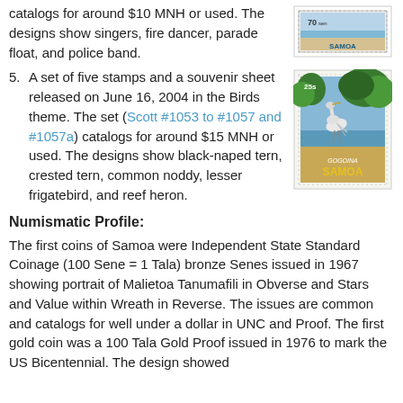catalogs for around $10 MNH or used. The designs show singers, fire dancer, parade float, and police band.
[Figure (photo): Samoa 70 sene stamp showing blue and white design]
5. A set of five stamps and a souvenir sheet released on June 16, 2004 in the Birds theme. The set (Scott #1053 to #1057 and #1057a) catalogs for around $15 MNH or used. The designs show black-naped tern, crested tern, common noddy, lesser frigatebird, and reef heron.
[Figure (photo): Samoa 25 sene stamp showing Gogoina bird (reef heron) on beach with tropical foliage]
Numismatic Profile:
The first coins of Samoa were Independent State Standard Coinage (100 Sene = 1 Tala) bronze Senes issued in 1967 showing portrait of Malietoa Tanumafili in Obverse and Stars and Value within Wreath in Reverse. The issues are common and catalogs for well under a dollar in UNC and Proof. The first gold coin was a 100 Tala Gold Proof issued in 1976 to mark the US Bicentennial. The design showed